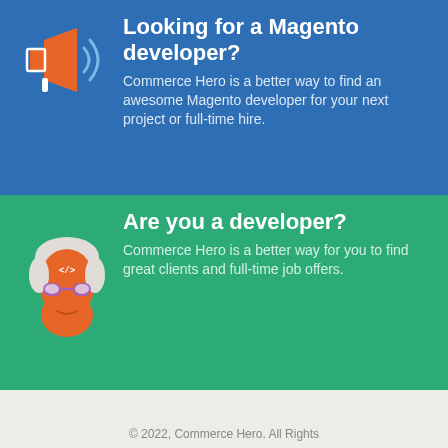[Figure (illustration): Megaphone/bullhorn icon in blue section — orange megaphone with white/blue sound waves]
Looking for a Magento developer?
Commerce Hero is a better way to find an awesome Magento developer for your next project or full-time hire.
[Figure (illustration): Developer avatar icon — cartoon face with white/grey hair, orange beard, purple glasses, code tag on face]
Are you a developer?
Commerce Hero is a better way for you to find great clients and full-time job offers.
© 2022, Commerce Hero. All Rights